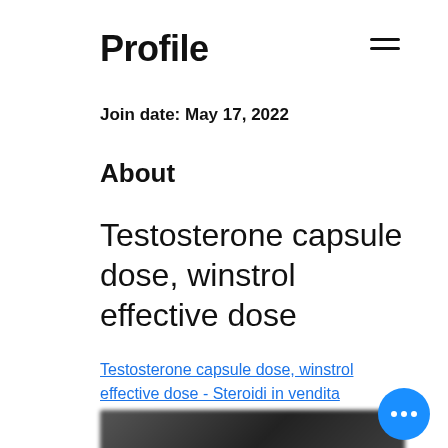Profile
Join date: May 17, 2022
About
Testosterone capsule dose, winstrol effective dose
Testosterone capsule dose, winstrol effective dose - Steroidi in vendita
[Figure (photo): Blurred image at the bottom of the page]